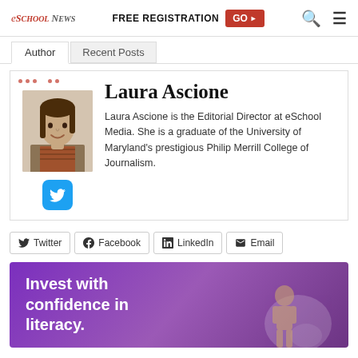eSchool News | FREE REGISTRATION GO
Author | Recent Posts
Laura Ascione
Laura Ascione is the Editorial Director at eSchool Media. She is a graduate of the University of Maryland's prestigious Philip Merrill College of Journalism.
[Figure (infographic): Social share buttons: Twitter, Facebook, LinkedIn, Email]
[Figure (infographic): Advertisement banner with purple background reading: Invest with confidence in literacy.]